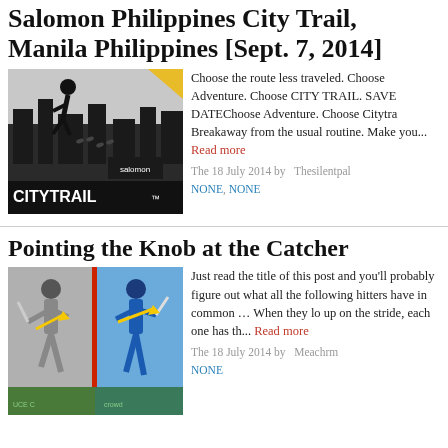Salomon Philippines City Trail, Manila Philippines [Sept. 7, 2014]
[Figure (photo): Salomon City Trail promotional image with runner silhouette against city skyline and CITYTRAIL logo]
Choose the route less traveled. Choose Adventure. Choose CITY TRAIL. SAVE DATEChoose Adventure. Choose Citytra Breakaway from the usual routine. Make you... Read more
The 18 July 2014 by Thesilentpal
NONE, NONE
Pointing the Knob at the Catcher
[Figure (photo): Two baseball batters side by side with yellow arrows indicating bat knob direction toward catcher, split by red vertical line]
Just read the title of this post and you'll probably figure out what all the following hitters have in common … When they lo up on the stride, each one has th... Read more
The 18 July 2014 by Meachrm
NONE